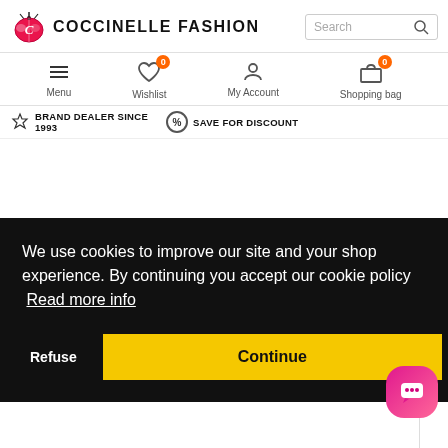[Figure (logo): Coccinelle Fashion logo with ladybug icon and bold text]
Search
[Figure (infographic): Navigation icons: Menu (hamburger), Wishlist (heart with 0 badge), My Account (person icon), Shopping bag (bag with 0 badge)]
BRAND DEALER SINCE 1993
SAVE FOR DISCOUNT
We use cookies to improve our site and your shop experience. By continuing you accept our cookie policy Read more info
Refuse
Continue